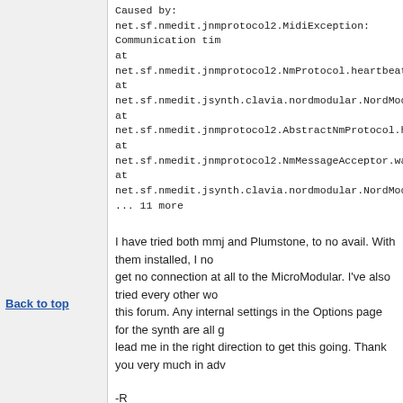Caused by: net.sf.nmedit.jnmprotocol2.MidiException: Communication tim
at net.sf.nmedit.jnmprotocol2.NmProtocol.heartbeatImpl(NmProtocol.java:
at
net.sf.nmedit.jsynth.clavia.nordmodular.NordModular$SchedulingProtocol
at net.sf.nmedit.jnmprotocol2.AbstractNmProtocol.heartbeat(AbstractNmP
at net.sf.nmedit.jnmprotocol2.NmMessageAcceptor.waitForReply(NmMes
at net.sf.nmedit.jsynth.clavia.nordmodular.NordModular.connect(NordMod
... 11 more
I have tried both mmj and Plumstone, to no avail. With them installed, I no get no connection at all to the MicroModular. I've also tried every other wo this forum. Any internal settings in the Options page for the synth are all g lead me in the right direction to get this going. Thank you very much in adv
-R
Back to top
Profile   PM
Umebosi
Posted: Mon Dec 06, 2010 5:20 pm    Post subject:
Joined: Dec 06, 2010
Posts: 2
Location:
Hello,
same for me. Is there someone who knows what's happening and what to computer running on OS9 or is there still someone working on nomad to fi
Thanks